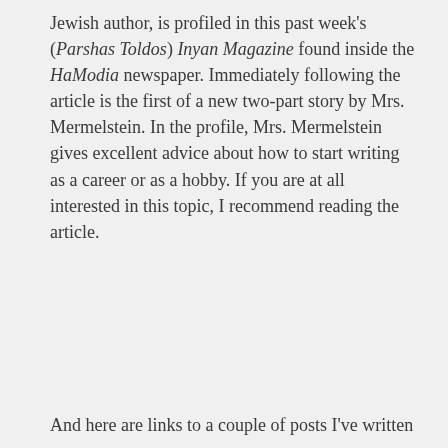Jewish author, is profiled in this past week's (Parshas Toldos) Inyan Magazine found inside the HaModia newspaper. Immediately following the article is the first of a new two-part story by Mrs. Mermelstein. In the profile, Mrs. Mermelstein gives excellent advice about how to start writing as a career or as a hobby. If you are at all interested in this topic, I recommend reading the article.
And here are links to a couple of posts I've written on